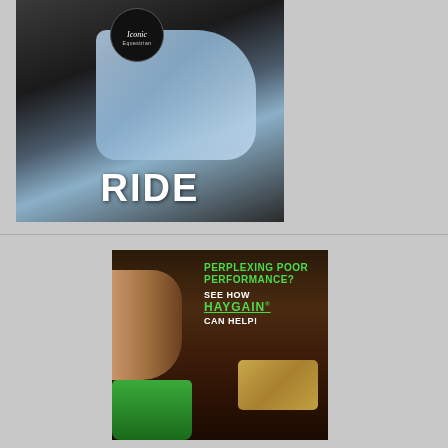[Figure (photo): Equestrian advertisement showing a horse with a blue quilted saddle pad and a leather saddle, with a circular black logo reading 'Iconic Equestrian' at top and bold white text 'RIDE' at the bottom]
[Figure (photo): Haygain advertisement showing a horse eating from a green bucket with hay visible. Text overlay reads 'PERPLEXING POOR PERFORMANCE? SEE HOW HAYGAIN CAN HELP!']